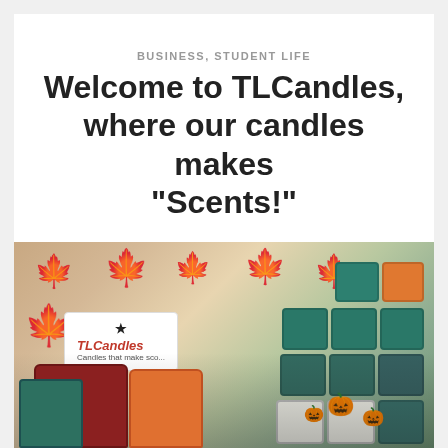BUSINESS, STUDENT LIFE
Welcome to TLCandles, where our candles makes “Scents!”
[Figure (photo): Photo of TLCandles product display with mason jar candles in green and orange colors, TLCandles branded sign with star logo and tagline 'Candles that make scents', autumn leaf decorations on a white backdrop, and small pumpkins in the foreground.]